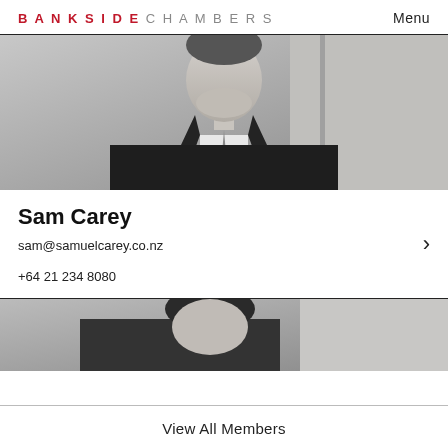BANKSIDE CHAMBERS   Menu
[Figure (photo): Black and white photo of Sam Carey, a man in a dark suit and tie, smiling, cropped to show shoulders and below chin]
Sam Carey
sam@samuelcarey.co.nz
+64 21 234 8080
[Figure (photo): Black and white partial photo of another member, showing top of head/shoulders]
View All Members